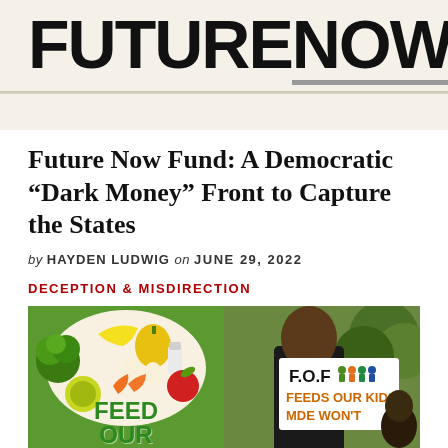[Figure (logo): Future Now website logo — 'FUTURE' in large black bold uppercase letters and 'NOW' in same style with a gray underline bar beneath it, on a light beige/cream background]
Future Now Fund: A Democratic “Dark Money” Front to Capture the States
by HAYDEN LUDWIG on JUNE 29, 2022
DECEPTION & MISDIRECTION
[Figure (photo): Composite of two photos side by side. Left: colorful arrangement of vegetables, fruits, and dairy products on a white/green background with text 'FEED OUR' in green. Right: a man holding a white sign reading 'F.O.F FEEDS OUR KIDS, MDE WON’T' with orange text and small icons on a green/outdoor background.]